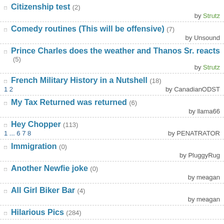Citizenship test (2) by Strutz
Comedy routines (This will be offensive) (7) by Unsound
Prince Charles does the weather and Thanos Sr. reacts (5) by Strutz
French Military History in a Nutshell (18) 1 2 by CanadianODST
My Tax Returned was returned (6) by llama66
Hey Chopper (113) 1 ... 6 7 8 by PENATRATOR
Immigration (0) by PluggyRug
Another Newfie joke (0) by meagan
All Girl Biker Bar (4) by meagan
Hilarious Pics (284)